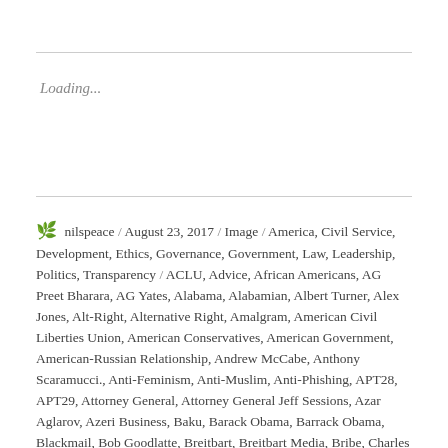Loading...
nilspeace / August 23, 2017 / Image / America, Civil Service, Development, Ethics, Governance, Government, Law, Leadership, Politics, Transparency / ACLU, Advice, African Americans, AG Preet Bharara, AG Yates, Alabama, Alabamian, Albert Turner, Alex Jones, Alt-Right, Alternative Right, Amalgram, American Civil Liberties Union, American Conservatives, American Government, American-Russian Relationship, Andrew McCabe, Anthony Scaramucci., Anti-Feminism, Anti-Muslim, Anti-Phishing, APT28, APT29, Attorney General, Attorney General Jeff Sessions, Azar Aglarov, Azeri Business, Baku, Barack Obama, Barrack Obama, Blackmail, Bob Goodlatte, Breitbart, Breitbart Media, Bribe, Charles E. Grassley, Citizens for Responsibility and